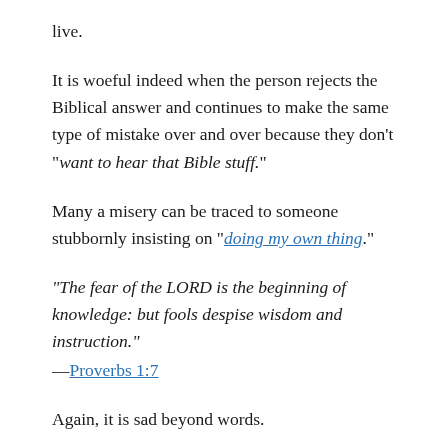live.
It is woeful indeed when the person rejects the Biblical answer and continues to make the same type of mistake over and over because they don’t “want to hear that Bible stuff.”
Many a misery can be traced to someone stubbornly insisting on “doing my own thing.”
“The fear of the LORD is the beginning of knowledge: but fools despise wisdom and instruction.”
—Proverbs 1:7
Again, it is sad beyond words.